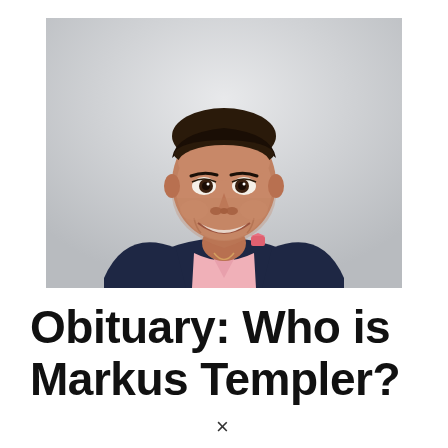[Figure (photo): Professional headshot of Markus Templer, a man in a dark navy blazer over a light pink shirt with a pink pocket square, smiling broadly, photographed against a light grey background.]
Obituary: Who is Markus Templer?